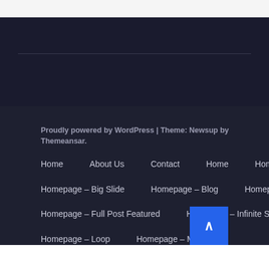Proudly powered by WordPress | Theme: Newsup by Themeansar.
Home
About Us
Contact
Home
Homepage – Big Slide
Homepage – Big Slide
Homepage – Blog
Homepage – Fashion
Homepage – Full Post Featured
Homepage – Infinite Scroll
Homepage – Loop
Homepage – Magazine